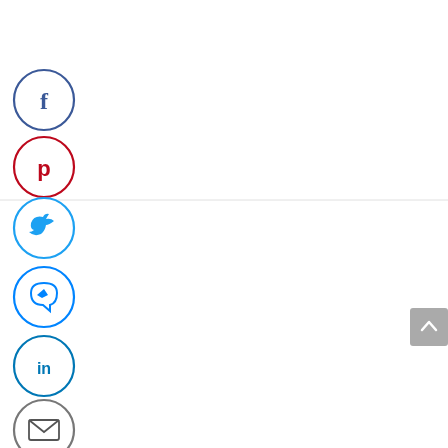[Figure (illustration): Vertical stack of social media sharing icons: Facebook (dark blue circle outline with f), Pinterest (red circle outline with P), Twitter (light blue circle outline with bird), Messenger (light blue circle outline with lightning bolt chat), LinkedIn (teal circle outline with in), Email (gray circle outline with envelope). A horizontal divider line separates Pinterest from Twitter. A gray back-to-top button (upward chevron) is in the lower right.]